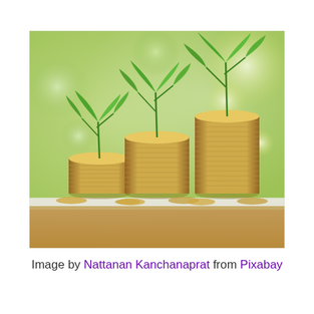[Figure (photo): Three stacks of gold coins of increasing height, each with a green plant seedling growing from the top, arranged on a wooden surface with a blurred green bokeh background. Represents financial growth or investment.]
Image by Nattanan Kanchanaprat from Pixabay